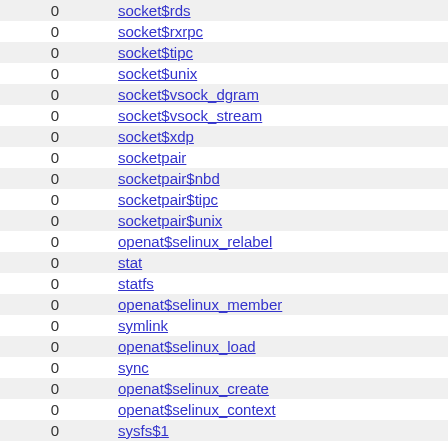| 0 | socket$rds |
| 0 | socket$rxrpc |
| 0 | socket$tipc |
| 0 | socket$unix |
| 0 | socket$vsock_dgram |
| 0 | socket$vsock_stream |
| 0 | socket$xdp |
| 0 | socketpair |
| 0 | socketpair$nbd |
| 0 | socketpair$tipc |
| 0 | socketpair$unix |
| 0 | openat$selinux_relabel |
| 0 | stat |
| 0 | statfs |
| 0 | openat$selinux_member |
| 0 | symlink |
| 0 | openat$selinux_load |
| 0 | sync |
| 0 | openat$selinux_create |
| 0 | openat$selinux_context |
| 0 | sysfs$1 |